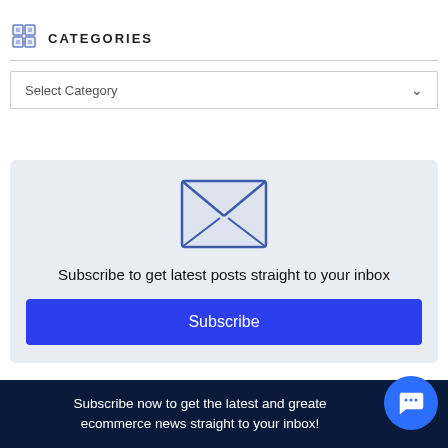CATEGORIES
Select Category
[Figure (infographic): Subscribe email newsletter box with envelope icon, text 'Subscribe to get latest posts straight to your inbox' and a blue Subscribe button]
Subscribe now to get the latest and greatest ecommerce news straight to your inbox!